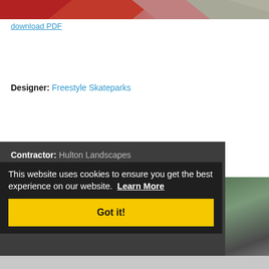[Figure (photo): Top partial image strip showing abstract colored shapes in red, pink, and gray/beige tones]
download PDF
Designer: Freestyle Skateparks
Contractor: Hulton Landscapes
This website uses cookies to ensure you get the best experience on our website. Learn More
Got it!
[Figure (photo): Partial photo of a skatepark showing dark pavement and green grass with a concrete path on the right side]
[Figure (photo): Bottom gray strip, partial view of another image section]